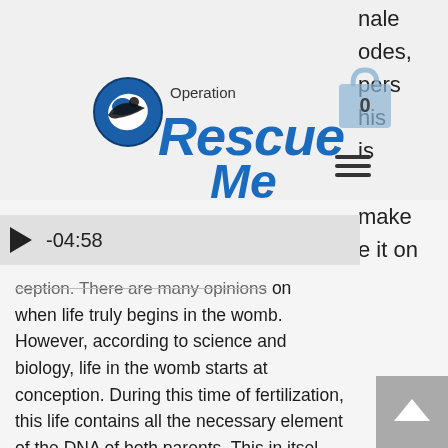[Figure (logo): Operation Rescue Me logo with bird icon and blue stylized text]
[Figure (illustration): Shopping bag icon with '0' label]
[Figure (infographic): Hamburger menu icon (three horizontal lines)]
nale odes, pers his is make e it on
-04:58
ception. There are many opinions on when life truly begins in the womb. However, according to science and biology, life in the womb starts at conception. During this time of fertilization, this life contains all the necessary elements of the DNA of both parents. This in itself can only be described as human life. So the question to a new mother becomes… Will you choose life?…